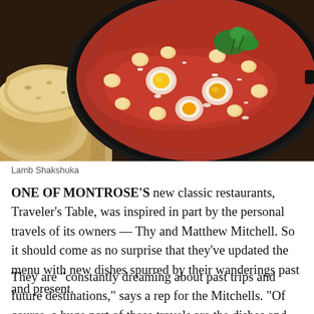[Figure (photo): Close-up photo of Lamb Shakshuka — a cast iron skillet filled with rich red tomato sauce, eggs, chickpeas, and white cheese crumbles, garnished with fresh herbs. Toasted flatbread is visible on the left side.]
Lamb Shakshuka
ONE OF MONTROSE'S new classic restaurants, Traveler's Table, was inspired in part by the personal travels of its owners — Thy and Matthew Mitchell. So it should come as no surprise that they've updated the menu with new dishes spurred by their wanderings past and present.
They are "constantly dreaming about past trips and future destinations," says a rep for the Mitchells. "Of course, a huge part of these travels are the dishes and